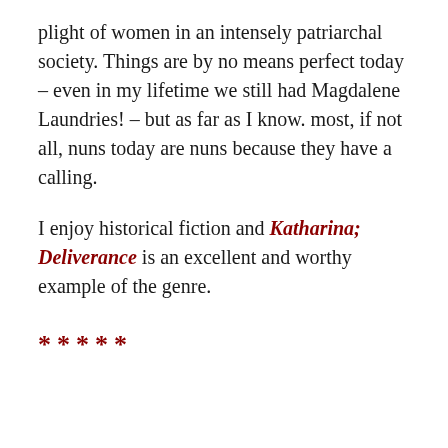plight of women in an intensely patriarchal society. Things are by no means perfect today – even in my lifetime we still had Magdalene Laundries! – but as far as I know. most, if not all, nuns today are nuns because they have a calling.
I enjoy historical fiction and Katharina; Deliverance is an excellent and worthy example of the genre.
*****